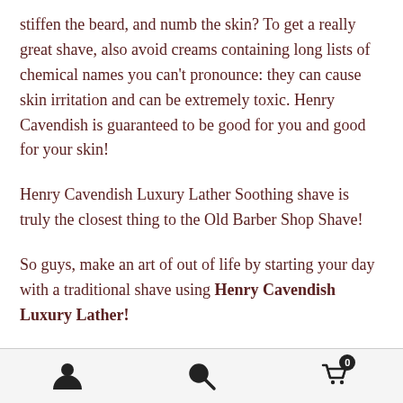stiffen the beard, and numb the skin? To get a really great shave, also avoid creams containing long lists of chemical names you can't pronounce: they can cause skin irritation and can be extremely toxic. Henry Cavendish is guaranteed to be good for you and good for your skin!
Henry Cavendish Luxury Lather Soothing shave is truly the closest thing to the Old Barber Shop Shave!
So guys, make an art of out of life by starting your day with a traditional shave using Henry Cavendish Luxury Lather!
[person icon] [search icon] [cart icon with badge 0]